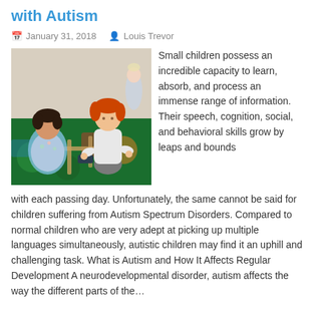with Autism
January 31, 2018   Louis Trevor
[Figure (photo): Two young children playing with wooden train tracks on a colorful floor mat in a classroom setting]
Small children possess an incredible capacity to learn, absorb, and process an immense range of information. Their speech, cognition, social, and behavioral skills grow by leaps and bounds with each passing day. Unfortunately, the same cannot be said for children suffering from Autism Spectrum Disorders. Compared to normal children who are very adept at picking up multiple languages simultaneously, autistic children may find it an uphill and challenging task. What is Autism and How It Affects Regular Development A neurodevelopmental disorder, autism affects the way the different parts of the…